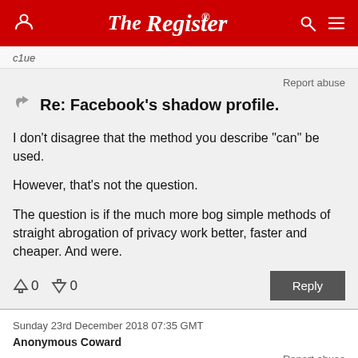The Register
c1ue
Report abuse
Re: Facebook's shadow profile.
I don't disagree that the method you describe "can" be used.
However, that's not the question.
The question is if the much more bog simple methods of straight abrogation of privacy work better, faster and cheaper. And were.
↑0  ↓0   Reply
Sunday 23rd December 2018 07:35 GMT
Anonymous Coward
Report abuse